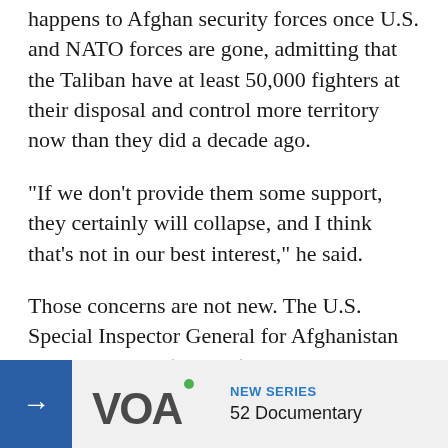happens to Afghan security forces once U.S. and NATO forces are gone, admitting that the Taliban have at least 50,000 fighters at their disposal and control more territory now than they did a decade ago.
"If we don't provide them some support, they certainly will collapse, and I think that's not in our best interest," he said.
Those concerns are not new. The U.S. Special Inspector General for Afghanistan Reconstruction (SIGAR), John Sopko, warned in March that without U.S. and international assistance, and in absence of a viable peace agreement, "Taliban forces could be at the gates of Kabul in short order."
SIGAR further international c...
[Figure (logo): VOA (Voice of America) banner advertisement: blue arrow button on left, VOA logo in center, 'NEW SERIES' label in blue and '52 Documentary' text on right, on light gray background]